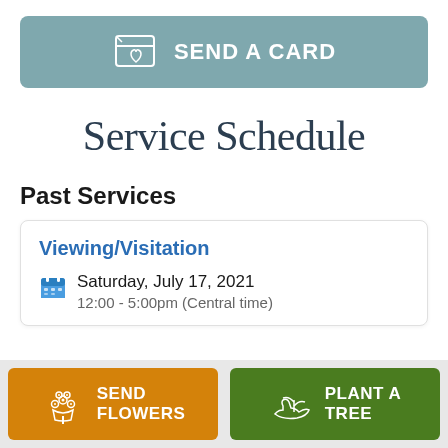[Figure (other): Send a Card button with greeting card icon]
Service Schedule
Past Services
Viewing/Visitation
Saturday, July 17, 2021
12:00 - 5:00pm (Central time)
[Figure (other): Send Flowers button (orange) and Plant a Tree button (green) at page bottom]